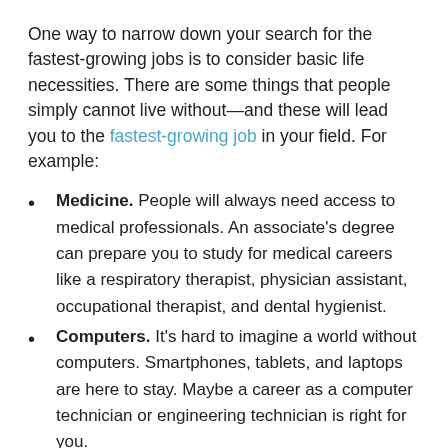One way to narrow down your search for the fastest-growing jobs is to consider basic life necessities. There are some things that people simply cannot live without—and these will lead you to the fastest-growing job in your field. For example:
Medicine. People will always need access to medical professionals. An associate's degree can prepare you to study for medical careers like a respiratory therapist, physician assistant, occupational therapist, and dental hygienist.
Computers. It's hard to imagine a world without computers. Smartphones, tablets, and laptops are here to stay. Maybe a career as a computer technician or engineering technician is right for you.
Education. Similar to medicine, people will always need